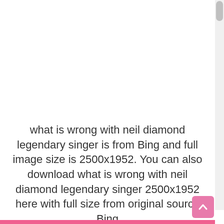[Figure (other): Empty white image placeholder area at top of page]
what is wrong with neil diamond legendary singer is from Bing and full image size is 2500x1952. You can also download what is wrong with neil diamond legendary singer 2500x1952 here with full size from original source Bing